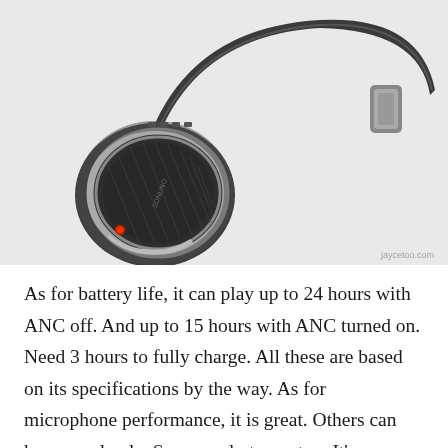[Figure (photo): A pair of dark grey over-ear headphones with a circular earcup featuring a metallic ring and branded mesh grille, photographed against a white background. A watermark reading 'jaycetoo.com' is visible in the bottom-right corner of the image.]
As for battery life, it can play up to 24 hours with ANC off. And up to 15 hours with ANC turned on. Need 3 hours to fully charge. All these are based on its specifications by the way. As for microphone performance, it is great. Others can hear me clearly. Same apply to me too. It's a pleasure to use it for